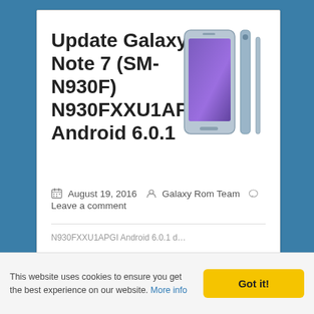Update Galaxy Note 7 (SM-N930F) N930FXXU1APGI Android 6.0.1
[Figure (photo): Samsung Galaxy Note 7 smartphone shown from front and side views in blue color]
August 19, 2016  Galaxy Rom Team  Leave a comment
N930FXXU1APGI Android 6.0.1 d...
This website uses cookies to ensure you get the best experience on our website. More info